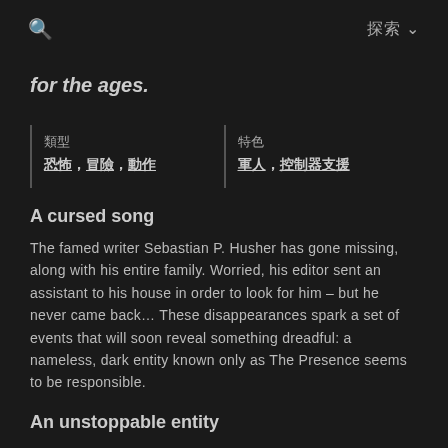🔍  探索 ∨
for the ages.
| 類型 | 特色 |
| --- | --- |
| 恐怖，冒險，動作 | 軍人，控制器支援 |
A cursed song
The famed writer Sebastian P. Husher has gone missing, along with his entire family. Worried, his editor sent an assistant to his house in order to look for him – but he never came back... These disappearances spark a set of events that will soon reveal something dreadful: a nameless, dark entity known only as The Presence seems to be responsible.
An unstoppable entity